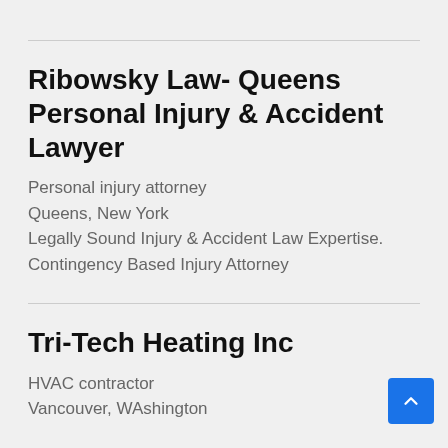Ribowsky Law- Queens Personal Injury & Accident Lawyer
Personal injury attorney
Queens, New York
Legally Sound Injury & Accident Law Expertise. Contingency Based Injury Attorney
Tri-Tech Heating Inc
HVAC contractor
Vancouver, WAshington